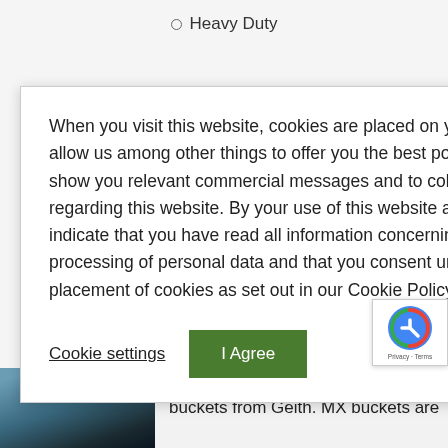Heavy Duty
ctly to match your
When you visit this website, cookies are placed on your device. These cookies allow us among other things to offer you the best possible user experience, to show you relevant commercial messages and to collect statistical information regarding this website. By your use of this website and by clicking “I AGREE”, you indicate that you have read all information concerning our use of cookies and the processing of personal data and that you consent unambiguously to the placement of cookies as set out in our Cookie Policy, which can be found here
Cookie settings
I Agree
g perform
eavy duty
[Figure (photo): Partial photo of what appears to be a bucket or heavy machinery attachment, dark/blue toned]
buckets from Geith. MX buckets are